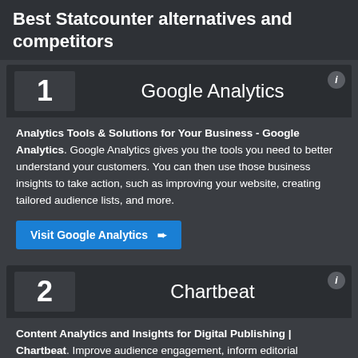Best Statcounter alternatives and competitors
1   Google Analytics
Analytics Tools & Solutions for Your Business - Google Analytics. Google Analytics gives you the tools you need to better understand your customers. You can then use those business insights to take action, such as improving your website, creating tailored audience lists, and more.
Visit Google Analytics →
2   Chartbeat
Content Analytics and Insights for Digital Publishing | Chartbeat. Improve audience engagement, inform editorial decisions, and increase readership. Chartbeat delivers real-time